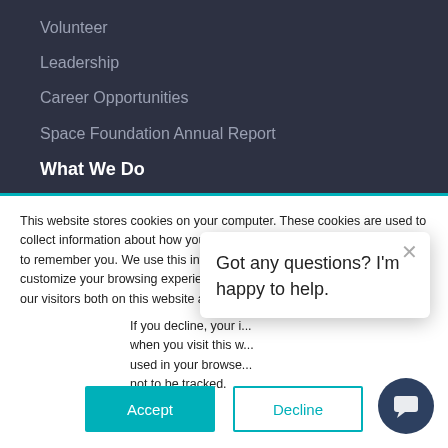Volunteer
Leadership
Career Opportunities
Space Foundation Annual Report
What We Do
This website stores cookies on your computer. These cookies are used to collect information about how you interact with our website and allow us to remember you. We use this information in order to improve and customize your browsing experience and for analytics and metrics about our visitors both on this website and other media. To f... our Privacy Policy.
If you decline, your i... when you visit this w... used in your browse... not to be tracked.
Got any questions? I'm happy to help.
Accept
Decline